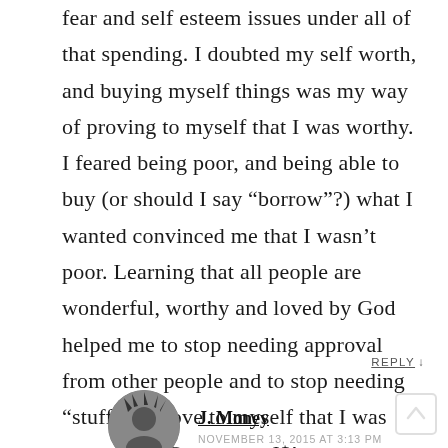fear and self esteem issues under all of that spending. I doubted my self worth, and buying myself things was my way of proving to myself that I was worthy. I feared being poor, and being able to buy (or should I say “borrow”?) what I wanted convinced me that I wasn’t poor. Learning that all people are wonderful, worthy and loved by God helped me to stop needing approval from other people and to stop needing “stuff” to prove to myself that I was successful. Great post, J$!
REPLY ↓
J. Money
NOVEMBER 13, 2015 AT 3:13 PM